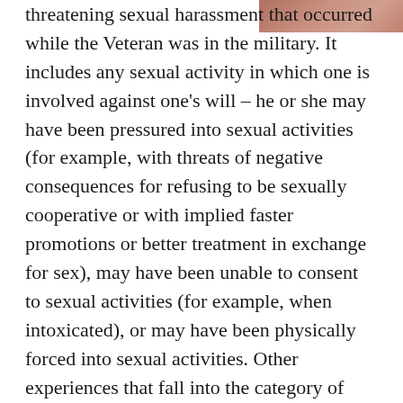[Figure (photo): Partial photo of a person visible in the top-right corner of the page]
threatening sexual harassment that occurred while the Veteran was in the military. It includes any sexual activity in which one is involved against one's will – he or she may have been pressured into sexual activities (for example, with threats of negative consequences for refusing to be sexually cooperative or with implied faster promotions or better treatment in exchange for sex), may have been unable to consent to sexual activities (for example, when intoxicated), or may have been physically forced into sexual activities. Other experiences that fall into the category of MST include unwanted sexual touching or grabbing; threatening, offensive remarks about a